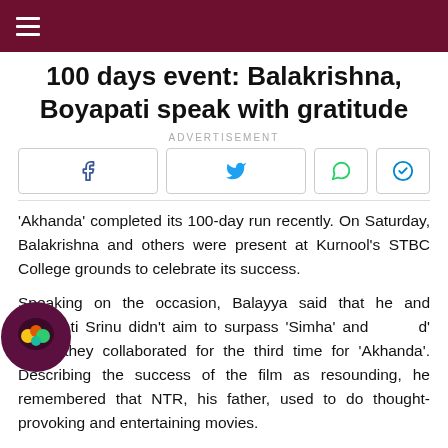≡
100 days event: Balakrishna, Boyapati speak with gratitude
ADVERTISEMENT
[Figure (other): Social share buttons: Facebook, Twitter, WhatsApp, Telegram]
'Akhanda' completed its 100-day run recently. On Saturday, Balakrishna and others were present at Kurnool's STBC College grounds to celebrate its success.
Speaking on the occasion, Balayya said that he and Boyapati Srinu didn't aim to surpass 'Simha' and 'Legend' when they collaborated for the third time for 'Akhanda'. Describing the success of the film as resounding, he remembered that NTR, his father, used to do thought-provoking and entertaining movies.